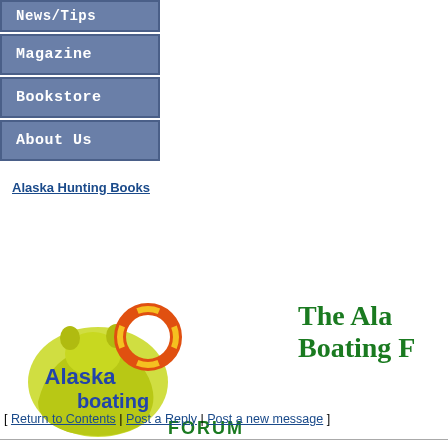News/Tips
Magazine
Bookstore
About Us
Alaska Hunting Books
[Figure (logo): Alaska Boating Forum logo with yellow bear silhouette and life preserver]
The Alaska Boating F...
[ Return to Contents | Post a Reply | Post a new message ]